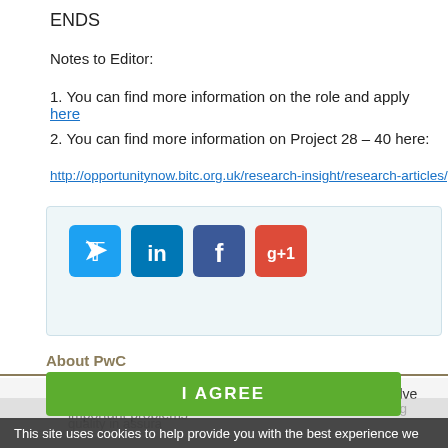ENDS
Notes to Editor:
1. You can find more information on the role and apply here
2. You can find more information on Project 28 – 40 here:
http://opportunitynow.bitc.org.uk/research-insight/research-articles/project-28-40
[Figure (infographic): Social sharing buttons for Twitter, LinkedIn, Facebook, and Google+1 on a light blue background box]
About PwC
At PwC, our purpose is to build trust in society and solve important problems...
I AGREE
This site uses cookies to help provide you with the best experience we can. By using this site you agree to the use of cookies. On our Cookies Information page there is more information available about the cookies we use including how to remove or block them.